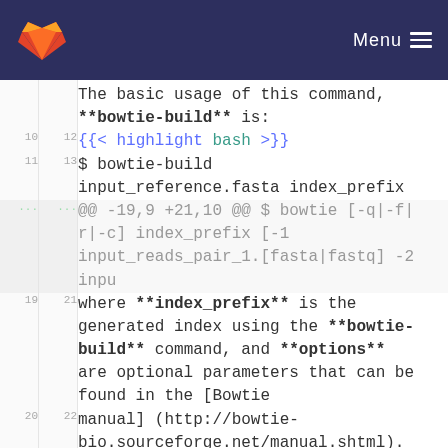GitLab Menu
The basic usage of this command, **bowtie-build** is:
10  12  {{< highlight bash >}}
11  13  $ bowtie-build input_reference.fasta index_prefix
...  ...  @@ -19,9 +21,10 @@ $ bowtie [-q|-f|-r|-c] index_prefix [-1 input_reads_pair_1.[fasta|fastq] -2 inpu
19  21  where **index_prefix** is the generated index using the **bowtie-build** command, and **options** are optional parameters that can be found in the [Bowtie manual] (http://bowtie-bio.sourceforge.net/manual.shtml).
20  22
21  23
24  +
22  25  Bowtie supports both single-end (`input_reads.[fasta|fastq]`) and